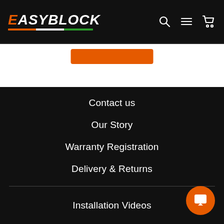[Figure (logo): EasyBlock logo with stylized italic text and Italian flag underline stripe]
Contact us
Our Story
Warranty Registration
Delivery & Returns
Installation Videos
Find your dealer
Become a dealer